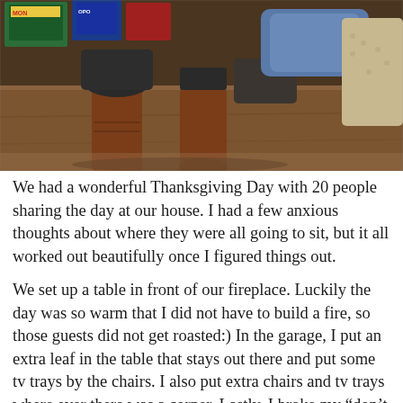[Figure (photo): Photo of two people sitting on a wooden floor with brown leather boots visible, a board game (Monopoly) in the background, one person wearing dark pants and a denim jacket, another in a crocheted/knit top]
We had a wonderful Thanksgiving Day with 20 people sharing the day at our house.  I had a few anxious thoughts about where they were all going to sit, but it all worked out beautifully once I figured things out.
We set up a table in front of our fireplace.  Luckily the day was so warm that I did not have to build a fire, so those guests did not get roasted:)  In the garage, I put an extra leaf in the table that stays out there and put some tv trays by the chairs.  I also put extra chairs and tv trays where ever there was a corner.  Lastly, I broke my “don’t eat on the couch” rule, and no one spilled.  Patsy’s room became the play room, and the kids